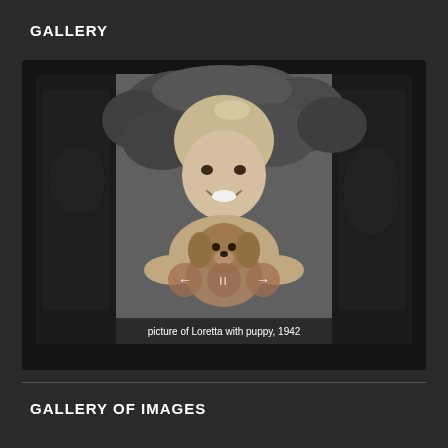GALLERY
[Figure (photo): Black and white photograph of a young girl (Loretta) smiling and holding a puppy, circa 1942. The photo is displayed in a slideshow gallery viewer with navigation arrows (left and right) and a pause button overlay. The sides of the viewer are dark/black.]
picture of Loretta with puppy, 1942
GALLERY OF IMAGES